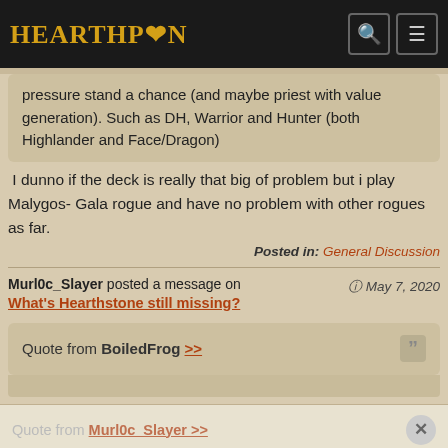HEARTHPWN
pressure stand a chance (and maybe priest with value generation). Such as DH, Warrior and Hunter (both Highlander and Face/Dragon)
I dunno if the deck is really that big of problem but i play Malygos- Gala rogue and have no problem with other rogues as far.
Posted in: General Discussion
Murl0c_Slayer posted a message on
May 7, 2020
What's Hearthstone still missing?
Quote from BoiledFrog >>
Quote from Murl0c_Slayer >>